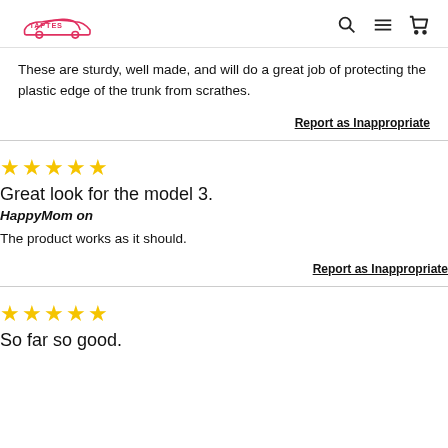TAPTES [logo with search, menu, cart icons]
These are sturdy, well made, and will do a great job of protecting the plastic edge of the trunk from scrathes.
Report as Inappropriate
★★★★★
Great look for the model 3.
HappyMom on
The product works as it should.
Report as Inappropriate
★★★★★
So far so good.